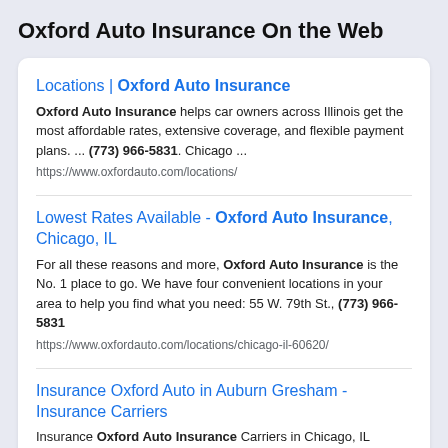Oxford Auto Insurance On the Web
Locations | Oxford Auto Insurance
Oxford Auto Insurance helps car owners across Illinois get the most affordable rates, extensive coverage, and flexible payment plans. ... (773) 966-5831. Chicago ...
https://www.oxfordauto.com/locations/
Lowest Rates Available - Oxford Auto Insurance, Chicago, IL
For all these reasons and more, Oxford Auto Insurance is the No. 1 place to go. We have four convenient locations in your area to help you find what you need: 55 W. 79th St., (773) 966-5831
https://www.oxfordauto.com/locations/chicago-il-60620/
Insurance Oxford Auto in Auburn Gresham - Insurance Carriers
Insurance Oxford Auto Insurance Carriers in Chicago, IL Auburn Gresham - Chicago, IL 60620 (773) 966-5831